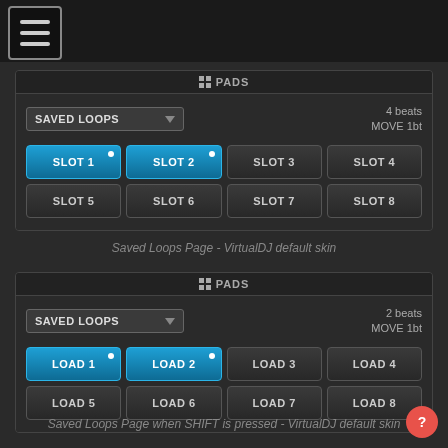[Figure (screenshot): Navigation top bar with hamburger menu icon]
[Figure (screenshot): Saved Loops pads panel showing SLOT 1-8 buttons, with SLOT 1 and SLOT 2 highlighted in blue. Shows 4 beats MOVE 1bt info. Dropdown reads SAVED LOOPS.]
Saved Loops Page - VirtualDJ default skin
[Figure (screenshot): Saved Loops pads panel when SHIFT is pressed showing LOAD 1-8 buttons, with LOAD 1 and LOAD 2 highlighted in blue. Shows 2 beats MOVE 1bt info. Dropdown reads SAVED LOOPS.]
Saved Loops Page when SHIFT is pressed - VirtualDJ default skin